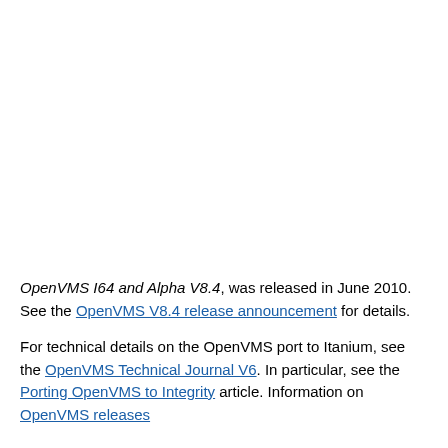OpenVMS I64 and Alpha V8.4, was released in June 2010. See the OpenVMS V8.4 release announcement for details.
For technical details on the OpenVMS port to Itanium, see the OpenVMS Technical Journal V6. In particular, see the Porting OpenVMS to Integrity article. Information on OpenVMS releases